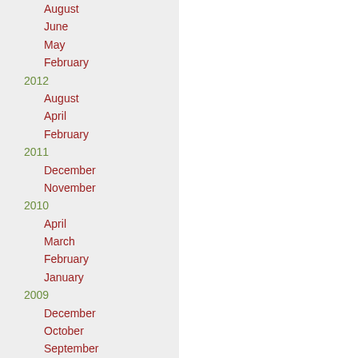August
June
May
February
2012
August
April
February
2011
December
November
2010
April
March
February
January
2009
December
October
September
August
July
June
May
April
March
February
January
2008
December
November
October
September
August
July
June
May
April